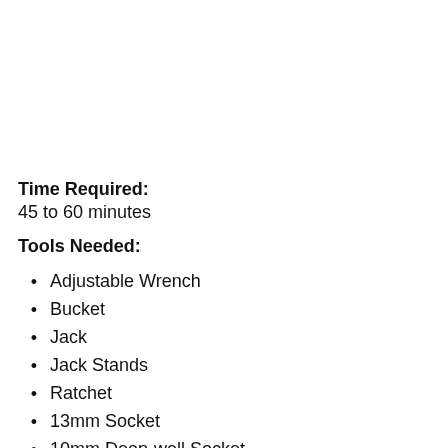Time Required: 45 to 60 minutes
Tools Needed:
Adjustable Wrench
Bucket
Jack
Jack Stands
Ratchet
13mm Socket
10mm Deep-well Socket
10mm Open-end Wrench
Slip-notch Pliers
T25 Torx Driver